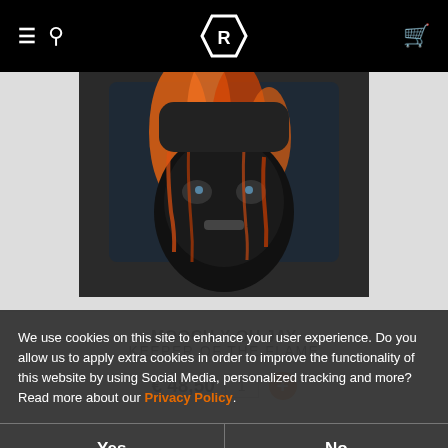Navigation bar with hamburger menu, search icon, logo, and cart icon
[Figure (photo): Product photo of a person wearing a face mask with flame/dripping paint artwork in orange and black colors against a dark background. This is the MOOCH X OH JAY 'Keeper of the Flame' artwork.]
MOOCH X OH JAY
KEEPER OF THE FLAME
€ 48,50  1  +
We use cookies on this site to enhance your user experience. Do you allow us to apply extra cookies in order to improve the functionality of this website by using Social Media, personalized tracking and more? Read more about our Privacy Policy.
Yes
No